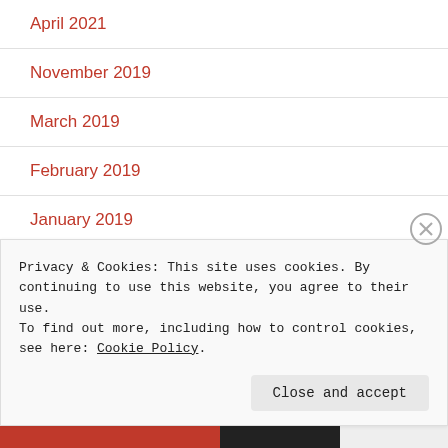April 2021
November 2019
March 2019
February 2019
January 2019
December 2018
October 2017
Privacy & Cookies: This site uses cookies. By continuing to use this website, you agree to their use.
To find out more, including how to control cookies, see here: Cookie Policy
Close and accept